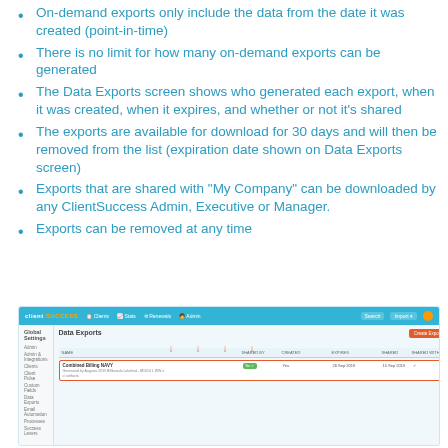On-demand exports only include the data from the date it was created (point-in-time)
There is no limit for how many on-demand exports can be generated
The Data Exports screen shows who generated each export, when it was created, when it expires, and whether or not it's shared
The exports are available for download for 30 days and will then be removed from the list (expiration date shown on Data Exports screen)
Exports that are shared with "My Company" can be downloaded by any ClientSuccess Admin, Executive or Manager.
Exports can be removed at any time
[Figure (screenshot): Screenshot of the ClientSuccess Data Exports screen showing navigation bar, sidebar with Global Settings menu items, and a data exports table with one row highlighted in a red border, with red arrows pointing to columns including SHARED BY, CREATED, EXPIRES, SHARED, and SHARED WITH. A Create Export button is visible in the top right.]